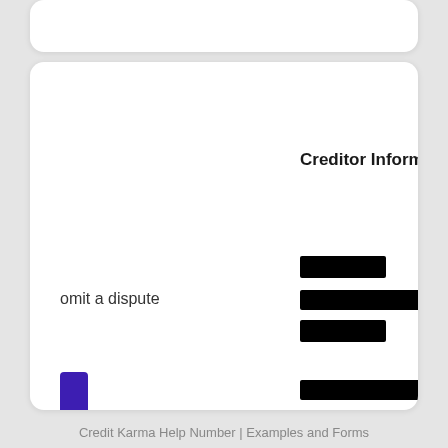Creditor Informa
omit a dispute
Credit Karma Help Number | Examples and Forms